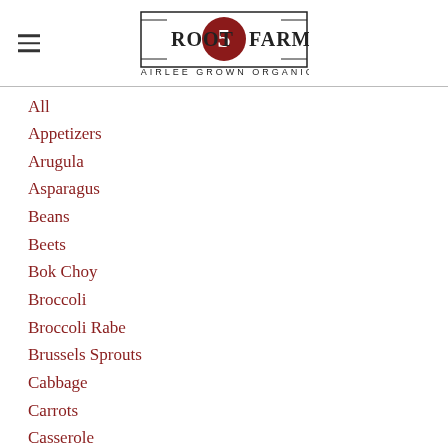[Figure (logo): Root 5 Farm logo with text 'FAIRLEE GROWN ORGANIC']
All
Appetizers
Arugula
Asparagus
Beans
Beets
Bok Choy
Broccoli
Broccoli Rabe
Brussels Sprouts
Cabbage
Carrots
Casserole
Collards
Cucumbers
Eggplant
Frittata